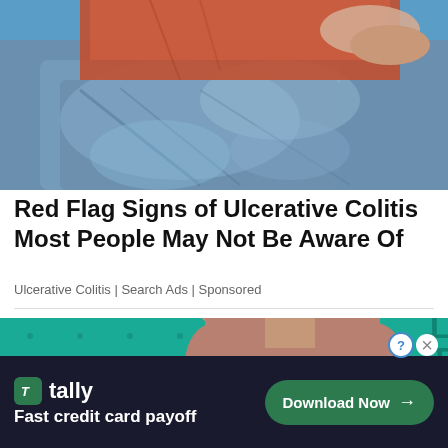[Figure (photo): Photo of a person in a red/orange shirt and blue jeans sitting with knees pulled up, on a blue couch background — top portion of body visible]
Red Flag Signs of Ulcerative Colitis Most People May Not Be Aware Of
Ulcerative Colitis | Search Ads | Sponsored
[Figure (photo): Photo of a woman on a teal/green dotted background wearing a beige strapless bra or top, letters visible on sides: M on left, LTCH on right]
[Figure (other): Ad banner: Tally logo with text 'Fast credit card payoff' and 'Download Now' button with arrow]